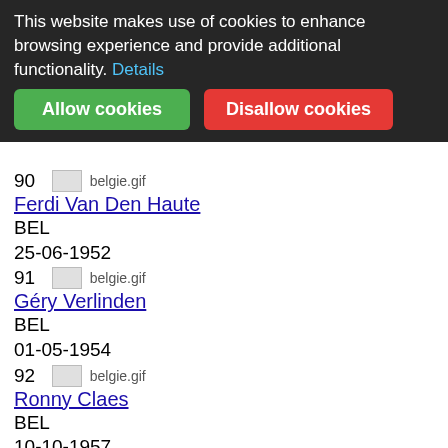[Figure (screenshot): Cookie consent banner with dark background. Text: 'This website makes use of cookies to enhance browsing experience and provide additional functionality. Details'. Two buttons: 'Allow cookies' (green) and 'Disallow cookies' (red).]
90  belgie.gif
Ferdi Van Den Haute
BEL
25-06-1952
91  belgie.gif
Géry Verlinden
BEL
01-05-1954
92  belgie.gif
Ronny Claes
BEL
10-10-1957
93  belgie.gif
Ludo Delcroix
BEL
28-10-1950
94  belgie.gif
Eric Van De Wiele
BEL
27-10-1952
95  belgie.gif
Jos Jacobs